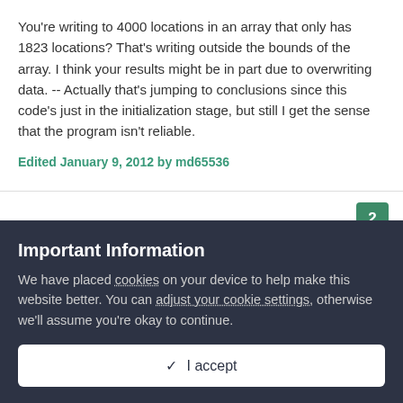You're writing to 4000 locations in an array that only has 1823 locations? That's writing outside the bounds of the array. I think your results might be in part due to overwriting data. -- Actually that's jumping to conclusions since this code's just in the initialization stage, but still I get the sense that the program isn't reliable.
Edited January 9, 2012 by md65536
2
Important Information
We have placed cookies on your device to help make this website better. You can adjust your cookie settings, otherwise we'll assume you're okay to continue.
I accept